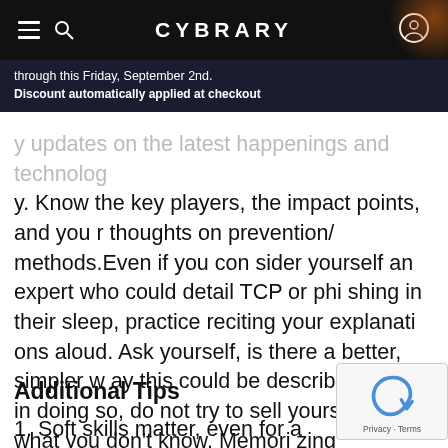CYBRARY
through this Friday, September 2nd. Discount automatically applied at checkout
y updates on the latest happenings and technology. Know the key players, the impact points, and your thoughts on prevention/ methods.Even if you consider yourself an expert who could detail TCP or phishing in their sleep, practice reciting your explanations aloud. Ask yourself, is there a better, simpler way this could be described? But, in doing so, do not try to sell yourself on what you don't know. Memorizing information of which you have no genuine understanding of will not help you on the job.
Additional Tips
Soft skills matter, even for a technical role. Be sure your personality shines through